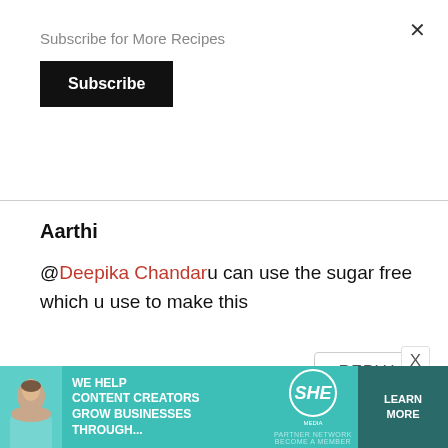×
Subscribe for More Recipes
Subscribe
Aarthi
@Deepika Chandaru can use the sugar free which u use to make this
REPLY
X
[Figure (infographic): Advertisement banner: teal background with woman photo, text 'WE HELP CONTENT CREATORS GROW BUSINESSES THROUGH...', SHE Media Partner Network logo, and a 'LEARN MORE' button]